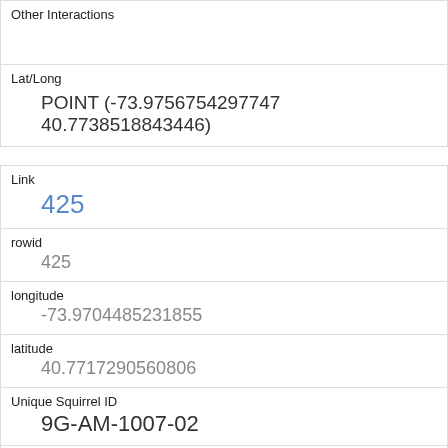| Other Interactions |  |
| Lat/Long | POINT (-73.9756754297747 40.7738518843446) |
| Link | 425 |
| rowid | 425 |
| longitude | -73.9704485231855 |
| latitude | 40.7717290560806 |
| Unique Squirrel ID | 9G-AM-1007-02 |
| Hectare | 09G |
| Shift | AM |
| Date | 10072018 |